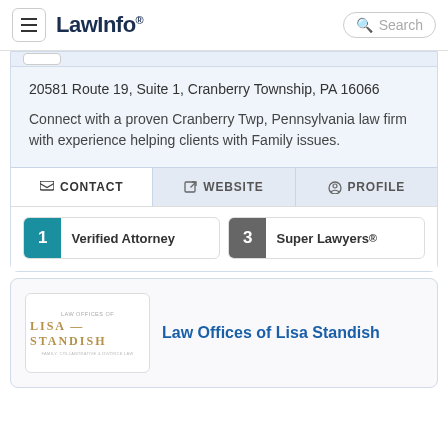LawInfo.
20581 Route 19, Suite 1, Cranberry Township, PA 16066
Connect with a proven Cranberry Twp, Pennsylvania law firm with experience helping clients with Family issues.
CONTACT | WEBSITE | PROFILE
1 Verified Attorney  3 Super Lawyers®
Law Offices of Lisa Standish